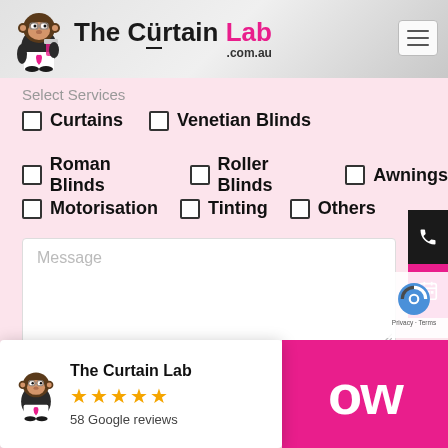[Figure (logo): The Curtain Lab logo with cartoon monkey mascot and text 'The Curtain Lab .com.au']
Select Services
Curtains
Venetian Blinds
Roman Blinds
Roller Blinds
Awnings
Motorisation
Tinting
Others
Message
The Curtain Lab
★★★★★
58 Google reviews